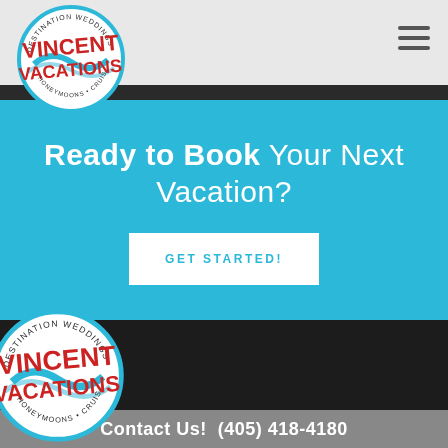[Figure (logo): Vincent Vacations circular logo with red text and blue wave, top-left corner]
Ready to Book Your Next Vacation?
GET STARTED!
[Figure (logo): Vincent Vacations circular logo, partially visible in dark footer section]
Contact Us! (405) 418-4180